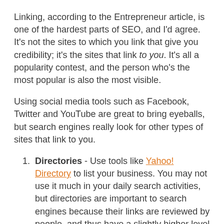Linking, according to the Entrepreneur article, is one of the hardest parts of SEO, and I'd agree. It's not the sites to which you link that give you credibility; it's the sites that link to you. It's all a popularity contest, and the person who's the most popular is also the most visible.
Using social media tools such as Facebook, Twitter and YouTube are great to bring eyeballs, but search engines really look for other types of sites that link to you.
Directories - Use tools like Yahoo! Directory to list your business. You may not use it much in your daily search activities, but directories are important to search engines because their links are reviewed by people, and thus have a slightly higher level of quality links than an automated directory.
Create a Google account for your small business - Let Google know you're out there by creating a local business listing. It helps your search engine